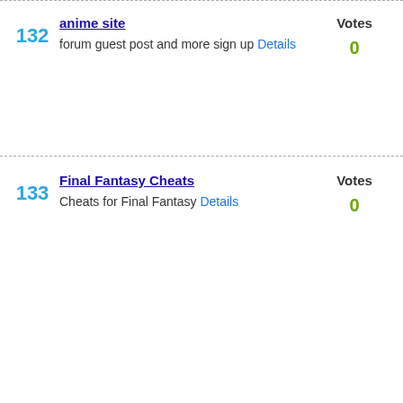132 anime site — forum guest post and more sign up Details — Votes 0
133 Final Fantasy Cheats — Cheats for Final Fantasy Details — Votes 0